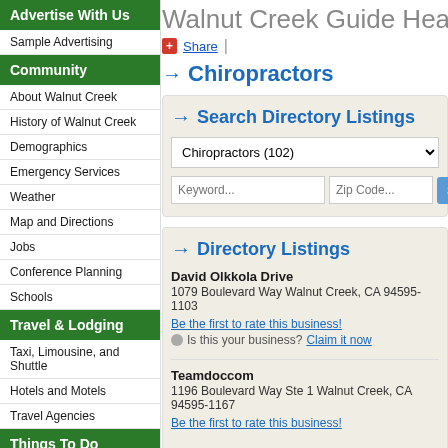Advertise With Us
Sample Advertising
Community
About Walnut Creek
History of Walnut Creek
Demographics
Emergency Services
Weather
Map and Directions
Jobs
Conference Planning
Schools
Travel & Lodging
Taxi, Limousine, and Shuttle
Hotels and Motels
Travel Agencies
Things To Do
Museums & Historical Attractions
Attractions
Family Activities
Walnut Creek Guide Hea...
Share
→ Chiropractors
→ Search Directory Listings
Chiropractors (102)
Keyword... | Zip Code...
→ Directory Listings
David Olkkola Drive
1079 Boulevard Way Walnut Creek, CA 94595-1103
Be the first to rate this business!
Is this your business? Claim it now
Teamdoccom
1196 Boulevard Way Ste 1 Walnut Creek, CA 94595-1167
Be the first to rate this business!